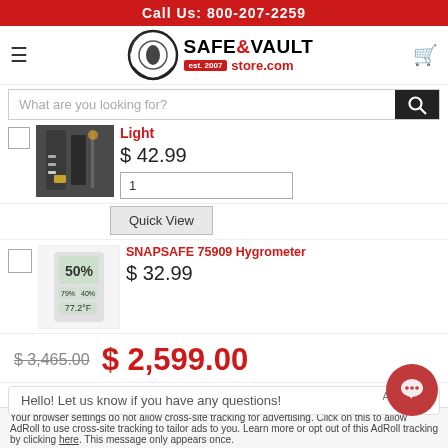Call Us: 800-207-2259
[Figure (logo): Safe & Vault Store.com logo with circular safe graphic and red branding, est. 2007]
What are you looking for?
[Figure (photo): Photo of gun safe interior with lighting]
Light
$ 42.99
1
Quick View
[Figure (photo): Photo of SNAPSAFE 75909 Hygrometer device showing 50% humidity and 77.2°F]
SNAPSAFE 75909 Hygrometer
$ 32.99
$ 3,465.00  $ 2,599.00
Hello! Let us know if you have any questions!
Your browser settings do not allow cross-site tracking for advertising. Click on this to allow AdRoll to use cross-site tracking to tailor ads to you. Learn more or opt out of this AdRoll tracking by clicking here. This message only appears once.